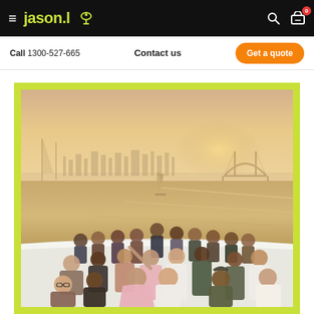jason.l [logo with martini glass icon]
Call 1300-527-665   Contact us   Get a quote
[Figure (photo): Group photo of approximately 30 people on the deck of a boat, with Sydney Harbour in the background at sunset/dusk, showing the Sydney city skyline and Harbour Bridge. The water is glowing orange-gold from the sunset light. A sailboat is visible in the middle distance.]